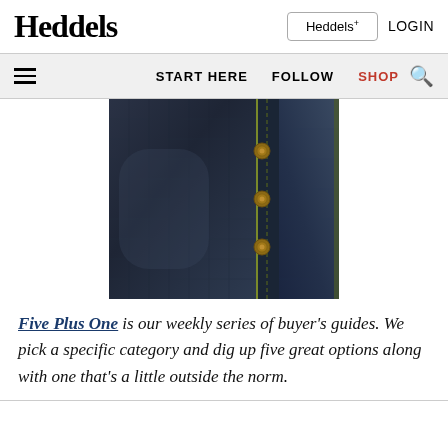Heddels | Heddels+ | LOGIN
START HERE | FOLLOW | SHOP | Search
[Figure (photo): Close-up photo of dark indigo denim jeans showing button fly with copper rivets and selvedge detail]
Five Plus One is our weekly series of buyer's guides. We pick a specific category and dig up five great options along with one that's a little outside the norm.